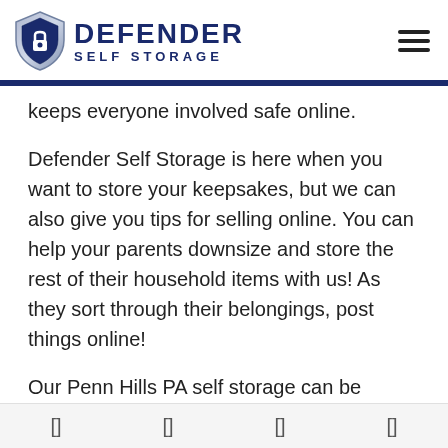[Figure (logo): Defender Self Storage logo with shield icon and text]
keeps everyone involved safe online.
Defender Self Storage is here when you want to store your keepsakes, but we can also give you tips for selling online. You can help your parents downsize and store the rest of their household items with us! As they sort through their belongings, post things online!
Our Penn Hills PA self storage can be rented online with
[ ] [ ] [ ] [ ]